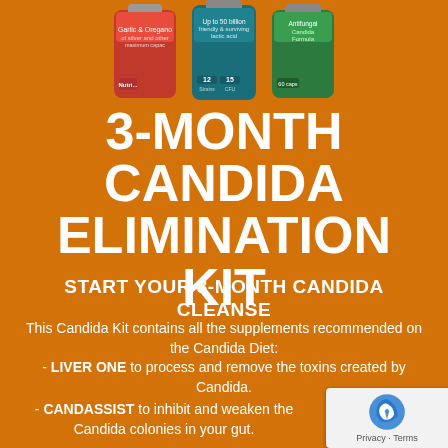[Figure (photo): Three product supplement bottles shown at top of orange background — red, teal/blue, and green bottles]
3-MONTH CANDIDA ELIMINATION KIT
START YOUR 3-MONTH CANDIDA CLEANSE
This Candida Kit contains all the supplements recommended on the Candida Diet:
- LIVER ONE to process and remove the toxins created by Candida.
- CANDASSIST to inhibit and weaken the Candida colonies in your gut.